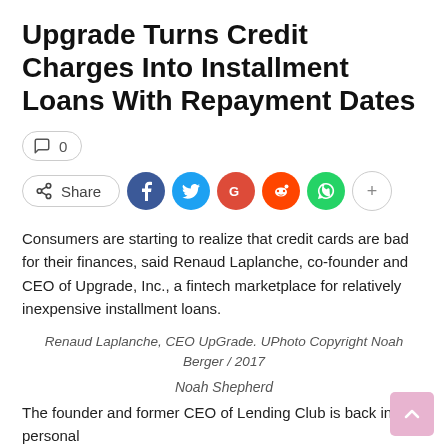Upgrade Turns Credit Charges Into Installment Loans With Repayment Dates
[Figure (infographic): Comment count pill showing 0 comments, and social share row with Share button and social media icons: Facebook, Twitter, Google+, Reddit, WhatsApp, and a More (+) button]
Consumers are starting to realize that credit cards are bad for their finances, said Renaud Laplanche, co-founder and CEO of Upgrade, Inc., a fintech marketplace for relatively inexpensive installment loans.
Renaud Laplanche, CEO UpGrade. UPhoto Copyright Noah Berger / 2017
Noah Shepherd
The founder and former CEO of Lending Club is back in personal